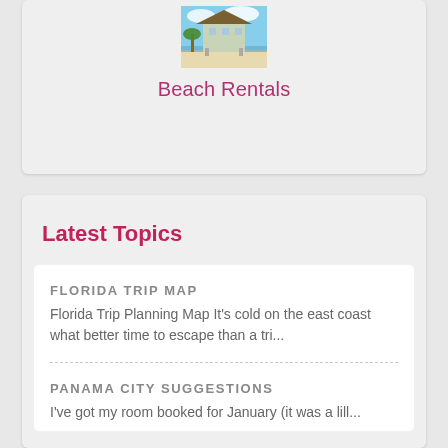[Figure (photo): Beach house rental photo showing a large multi-story beach house with palm trees]
Beach Rentals
Latest Topics
FLORIDA TRIP MAP
Florida Trip Planning Map It's cold on the east coast what better time to escape than a tri...
PANAMA CITY SUGGESTIONS
I've got my room booked for January (it was a lill...